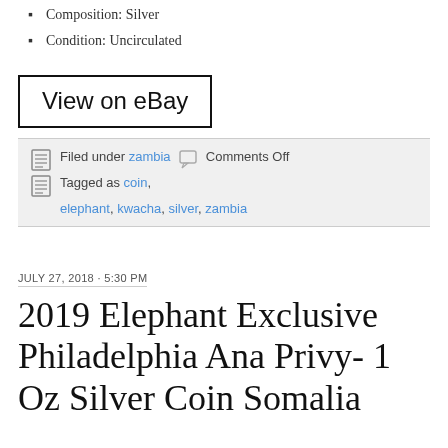Composition: Silver
Condition: Uncirculated
[Figure (other): View on eBay button with black border]
Filed under zambia   Comments Off   Tagged as coin, elephant, kwacha, silver, zambia
JULY 27, 2018 · 5:30 PM
2019 Elephant Exclusive Philadelphia Ana Privy- 1 Oz Silver Coin Somalia